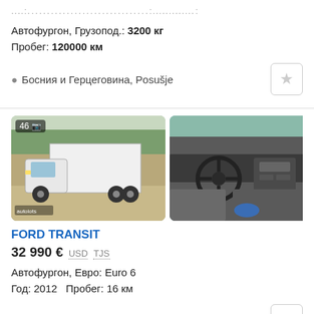....:.......................................:..........:
Автофургон, Грузопод.: 3200 кг
Пробег: 120000 км
Босния и Герцеговина, Posušje
[Figure (photo): White box truck (Ford Transit) parked outdoors, badge showing 46 photos]
[Figure (photo): Interior of Ford Transit showing steering wheel and dashboard]
FORD TRANSIT
32 990 €  USD  TJS
Автофургон, Евро: Euro 6
Год: 2012  Пробег: 16 км
Польша, Wałbrzych